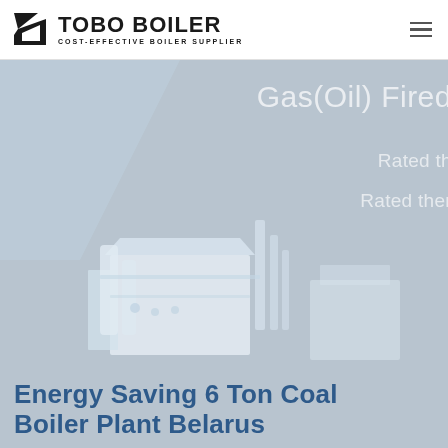[Figure (logo): Tobo Boiler logo with geometric icon and text 'TOBO BOILER / COST-EFFECTIVE BOILER SUPPLIER']
[Figure (photo): Hero banner with light blue-gray background showing industrial boiler equipment/plant with overlay text 'Gas(Oil) Fired', 'Rated th...', 'Rated ther...' on the right side]
Energy Saving 6 Ton Coal Boiler Plant Belarus